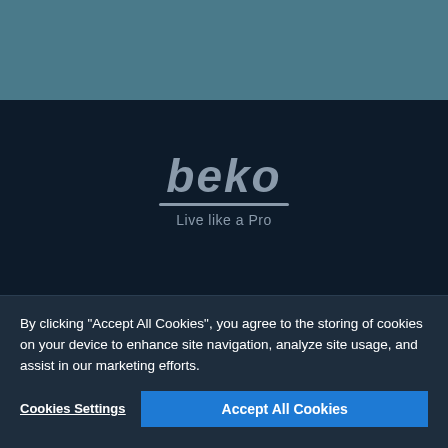[Figure (screenshot): Top portion of Beko website with teal/blue-grey header background showing partial product image at top]
[Figure (logo): Beko logo with italic wordmark 'beko', underline, and tagline 'Live like a Pro' on dark navy background]
By clicking "Accept All Cookies", you agree to the storing of cookies on your device to enhance site navigation, analyze site usage, and assist in our marketing efforts.
Cookies Settings
Accept All Cookies